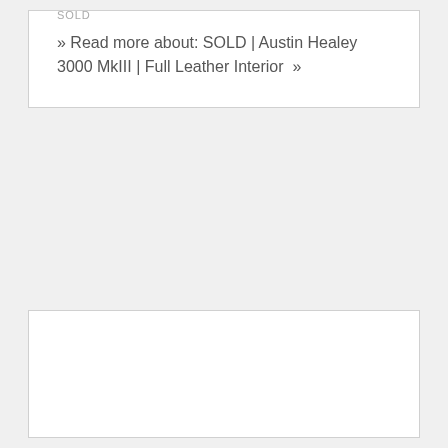SOLD | AUSTIN HEALEY 3000 MKIII | FULL LEATHER INTERIOR
SOLD
» Read more about: SOLD | Austin Healey 3000 MkIII | Full Leather Interior »